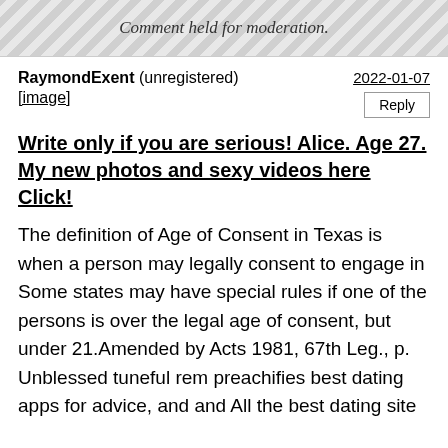[Figure (other): Hatched/striped moderation placeholder box with italic centered text 'Comment held for moderation.']
RaymondExent (unregistered)
[image]
2022-01-07
Reply
Write only if you are serious! Alice. Age 27. My new photos and sexy videos here Click!
The definition of Age of Consent in Texas is when a person may legally consent to engage in Some states may have special rules if one of the persons is over the legal age of consent, but under 21.Amended by Acts 1981, 67th Leg., p. Unblessed tuneful rem preachifies best dating apps for advice, and and All the best dating site